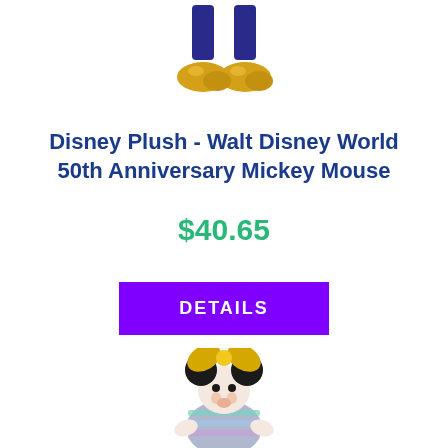[Figure (photo): Partial view of a Mickey Mouse plush toy showing just the feet/shoes with golden yellow shoes and blue pants, cropped at top of page]
Disney Plush - Walt Disney World 50th Anniversary Mickey Mouse
$40.65
DETAILS
[Figure (photo): Minnie Mouse plush toy wearing a rainbow/iridescent dress with a large yellow bow on her head, from Walt Disney World 50th Anniversary collection]